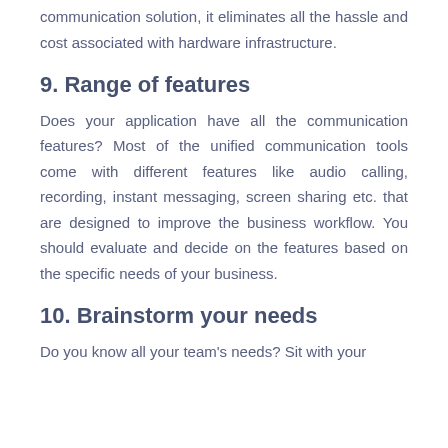communication solution, it eliminates all the hassle and cost associated with hardware infrastructure.
9. Range of features
Does your application have all the communication features? Most of the unified communication tools come with different features like audio calling, recording, instant messaging, screen sharing etc. that are designed to improve the business workflow. You should evaluate and decide on the features based on the specific needs of your business.
10. Brainstorm your needs
Do you know all your team's needs? Sit with your